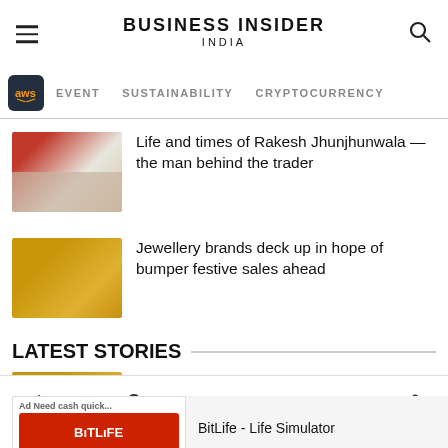BUSINESS INSIDER INDIA
EVENT  SUSTAINABILITY  CRYPTOCURRENCY
[Figure (screenshot): Thumbnail image of Rakesh Jhunjhunwala with family]
Life and times of Rakesh Jhunjhunwala — the man behind the trader
[Figure (screenshot): Thumbnail image of jewellery]
Jewellery brands deck up in hope of bumper festive sales ahead
LATEST STORIES
[Figure (screenshot): Thumbnail image of jewellery for latest stories]
Jewellery brands deck up in hope of bumper festive sales ahead
[Figure (screenshot): Ad banner: BitLife - Life Simulator. Install!]
fect it
Home  Notifications  Newsletters  Next  Share